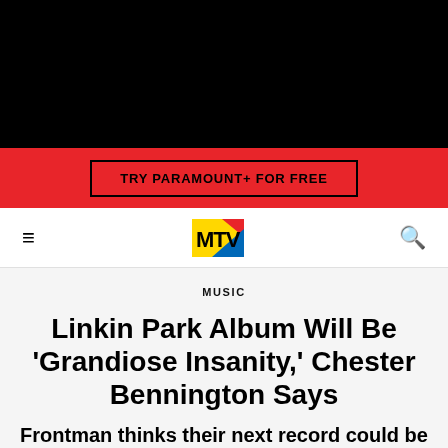[Figure (screenshot): Black header bar (video/image placeholder area)]
[Figure (screenshot): Red promotional banner with 'TRY PARAMOUNT+ FOR FREE' button]
[Figure (logo): MTV logo in navigation bar with hamburger menu and search icon]
MUSIC
Linkin Park Album Will Be 'Grandiose Insanity,' Chester Bennington Says
Frontman thinks their next record could be out by June